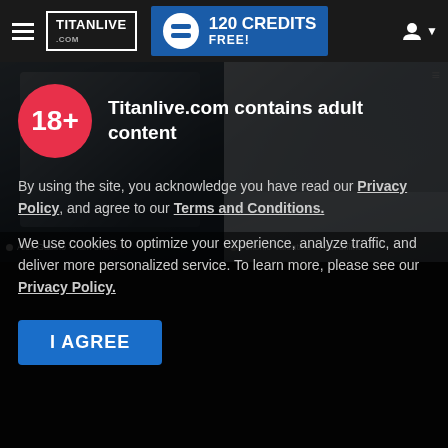TitanLive.com | 120 CREDITS FREE!
[Figure (screenshot): Two photo thumbnails of male models. Left: tattooed man in athletic wear holding a whip. Right: muscular man reclining on silver fabric. Both labeled as offline.]
Alex Gabino - I am offline
Antonio Valentino - I am offline
Titanlive.com contains adult content
By using the site, you acknowledge you have read our Privacy Policy, and agree to our Terms and Conditions.
We use cookies to optimize your experience, analyze traffic, and deliver more personalized service. To learn more, please see our Privacy Policy.
I AGREE